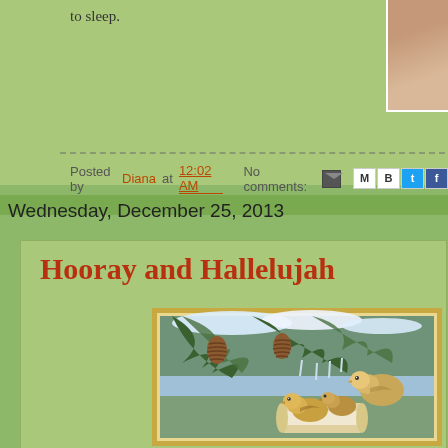to sleep.
Posted by Diana at 12:02 AM   No comments:
Wednesday, December 25, 2013
Hooray and Hallelujah
[Figure (illustration): Vintage Christmas postcard illustration showing sparrows/chickadees perched on snow-covered pine branches with pine cones, holding a scroll, gold border frame]